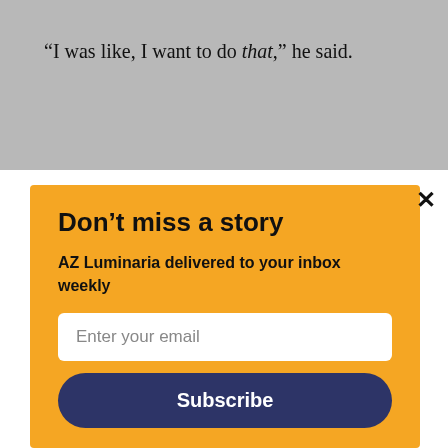“I was like, I want to do that,” he said.
[Figure (screenshot): Newsletter subscription modal popup with orange background. Contains title 'Don’t miss a story', subtitle 'AZ Luminaria delivered to your inbox weekly', an email input field, and a Subscribe button. An X close button appears in the top right.]